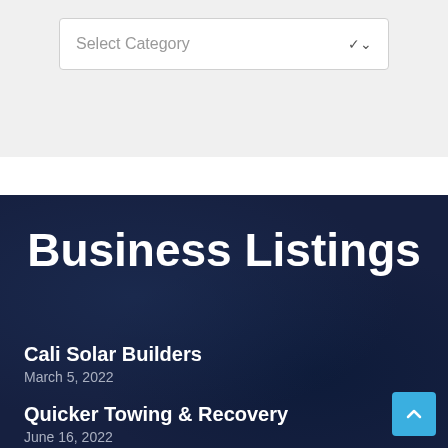[Figure (screenshot): Dropdown selector labeled 'Select Category' with a chevron arrow on the right, on a light gray background]
Business Listings
Cali Solar Builders
March 5, 2022
Quicker Towing & Recovery
June 16, 2022